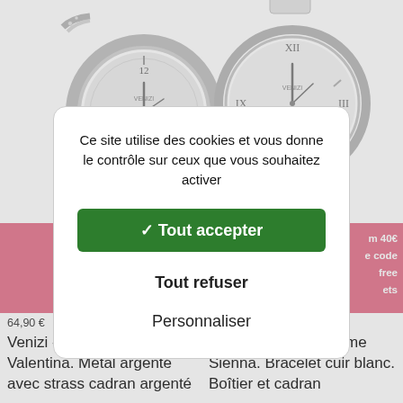[Figure (photo): Two silver women's watches (Venizi brand) on white background - left watch has crystal/strass details, right watch has a white leather strap. Both partially cropped.]
[Figure (screenshot): Cookie consent modal dialog with text 'Ce site utilise des cookies et vous donne le contrôle sur ceux que vous souhaitez activer', green 'Tout accepter' button with checkmark, 'Tout refuser' link, and 'Personnaliser' link.]
[Figure (photo): Pink promotional banner (left) partially visible: 'Free d... purcho... FRE... ci...']
[Figure (photo): Pink promotional banner (right) partially visible: 'm 40€ e code free ets']
64,90 €
Venizi - Montre Femme Valentina. Métal argenté avec strass cadran argenté
Venizi - Montre Femme Sienna. Bracelet cuir blanc. Boîtier et cadran